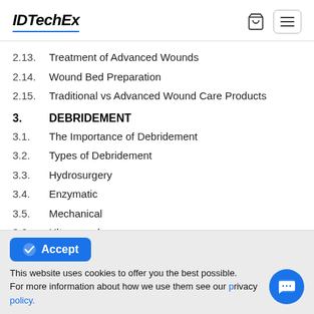IDTechEx
2.13.  Treatment of Advanced Wounds
2.14.  Wound Bed Preparation
2.15.  Traditional vs Advanced Wound Care Products
3.  DEBRIDEMENT
3.1.  The Importance of Debridement
3.2.  Types of Debridement
3.3.  Hydrosurgery
3.4.  Enzymatic
3.5.  Mechanical
3.6.  Ultrasound
Accept
This website uses cookies to offer you the best possible experience. For more information about how we use them see our privacy policy.